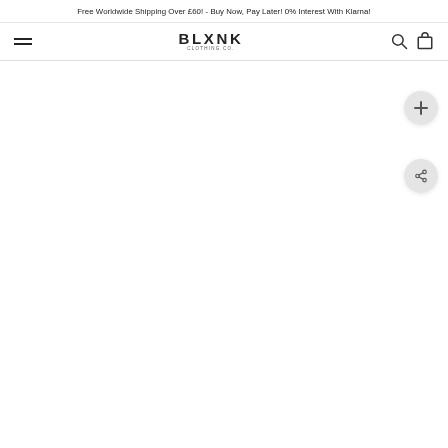Free Worldwide Shipping Over £60! - Buy Now, Pay Later! 0% Interest With Klarna!
[Figure (logo): BLXNK CLOTHING CO. brand logo with hamburger menu icon on left, search and cart icons on right]
[Figure (other): White content area with a zoom/add button (plus icon in circle) and a share button (share icon in circle) on the right side]